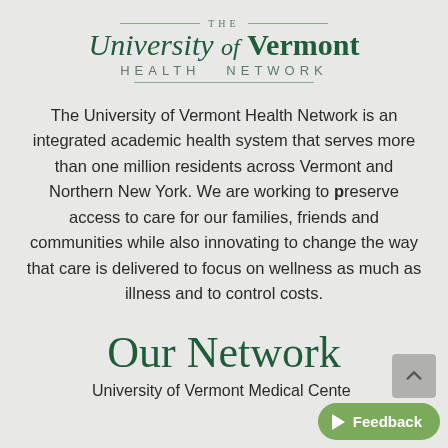[Figure (logo): University of Vermont Health Network logo with decorative horizontal lines and serif/sans-serif typography in dark green and muted green colors]
The University of Vermont Health Network is an integrated academic health system that serves more than one million residents across Vermont and Northern New York. We are working to preserve access to care for our families, friends and communities while also innovating to change the way that care is delivered to focus on wellness as much as illness and to control costs.
Our Network
University of Vermont Medical Center